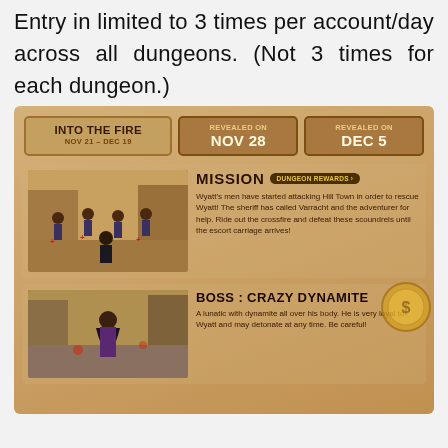Entry in limited to 3 times per account/day across all dungeons. (Not 3 times for each dungeon.)
[Figure (screenshot): Game dungeon event card showing 'Into the Fire' dungeon (Nov 21 - Dec 19), with two revealed-on dates (Nov 28, Dec 5). Mission section with game screenshot of bandits and mission description. Boss section with 'Crazy Dynamite' boss and description.]